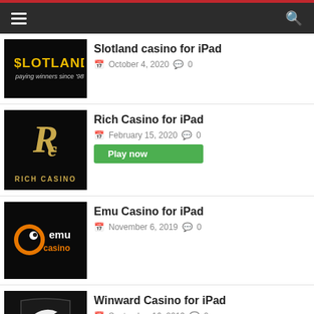Navigation bar with hamburger menu and search icon
Slotland casino for iPad — October 4, 2020 — 0 comments
Rich Casino for iPad — February 15, 2020 — 0 comments — Play now
Emu Casino for iPad — November 6, 2019 — 0 comments
Winward Casino for iPad — September 16, 2019 — 0 comments — Play now